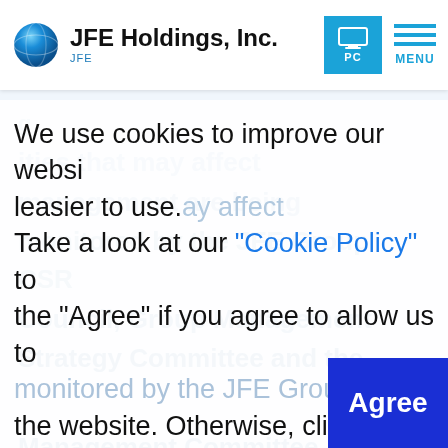JFE Holdings, Inc.
We use cookies to improve our website and make it easier to use. Take a look at our "Cookie Policy" to learn more. Click the "Agree" if you agree to allow us to use cookies on the website. Otherwise, click "Set Cookies" to set your preferences.
Management Committee. As the method, measures are implemented...